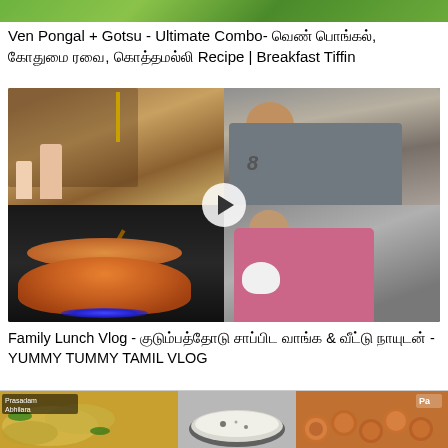[Figure (photo): Partial top image, green background, food on leaf]
Ven Pongal + Gotsu - Ultimate Combo- வெண் பொங்கல், கோதுமை ரவை, கொத்தமல்லி Recipe | Breakfast Tiffin
[Figure (photo): Family Lunch Vlog video thumbnail - 4 quadrant collage: top-left shows two kids in front of home temple/shelf, top-right shows a man in grey shirt with number 8, bottom-left shows curry pot on stove flame, bottom-right shows a girl holding a white puppy. Center has a play button overlay.]
Family Lunch Vlog - குடும்பத்தோடு சாப்பிட வாங்க & வீட்டு நாயுடன் - YUMMY TUMMY TAMIL VLOG
[Figure (photo): Bottom strip showing three food images: left - yellow rice/pulao with text overlay 'Prasadam Abhilara', center - white porridge/payasam in bowl, right - fried round snacks (bonda/vada) with text 'Pa']